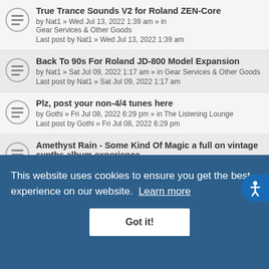True Trance Sounds V2 for Roland ZEN-Core
by Nat1 » Wed Jul 13, 2022 1:39 am » in Gear Services & Other Goods
Last post by Nat1 » Wed Jul 13, 2022 1:39 am
Back To 90s For Roland JD-800 Model Expansion
by Nat1 » Sat Jul 09, 2022 1:17 am » in Gear Services & Other Goods
Last post by Nat1 » Sat Jul 09, 2022 1:17 am
Plz, post your non-4/4 tunes here
by Gothi » Fri Jul 08, 2022 6:29 pm » in The Listening Lounge
Last post by Gothi » Fri Jul 08, 2022 6:29 pm
Amethyst Rain - Some Kind Of Magic a full on vintage synths album experience
by madmaverick » Sat Jul 02, 2022 4:15 pm » in The Listening Lounge
Ace of Base - Dancer in a daydream
by xperience2 » Fri Jul 01, 2022 6:40 pm » in General Synthesizers
Last post by xperience2 » Fri Jul 01, 2022 6:40 pm
That kind of music from way before synths existed
by VCOff » Sun Jun 19, 2022 5:49 pm » in The Listening Lounge
This website uses cookies to ensure you get the best experience on our website. Learn more
Got it!